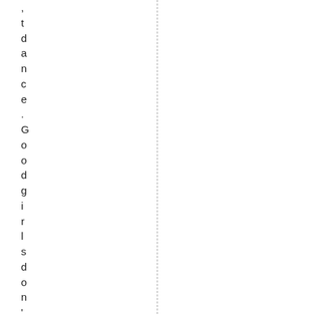,
tdance.
Goodgirls don't go out aft